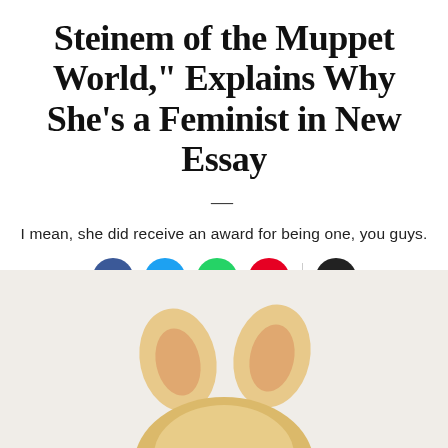Steinem of the Muppet World," Explains Why She's a Feminist in New Essay
I mean, she did receive an award for being one, you guys.
[Figure (illustration): Social sharing buttons: Facebook (blue circle with f), Twitter (light blue circle with bird), WhatsApp (green circle with phone), Pinterest (red circle with P), and Email (dark circle with envelope icon)]
[Figure (photo): Top of Miss Piggy's head showing her pig ears and blonde hair, on a light beige/cream background. Only the ears and top of head are visible, cropped at bottom of frame.]